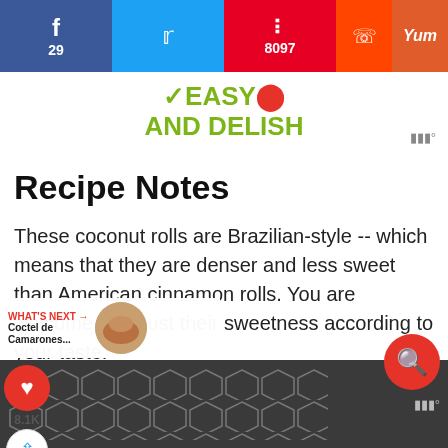f 29 | Twitter | p 8097 | Reddit | Yum
[Figure (logo): Easy and Delish logo with red circle and green text]
Recipe Notes
These coconut rolls are Brazilian-style -- which means that they are denser and less sweet than American cinnamon rolls. You are welcome to adjust their sweetness according to your taste.
STORAGE
Store coconut rolls (frosted or unfrosted) in an airtight container at room temp for up to 4